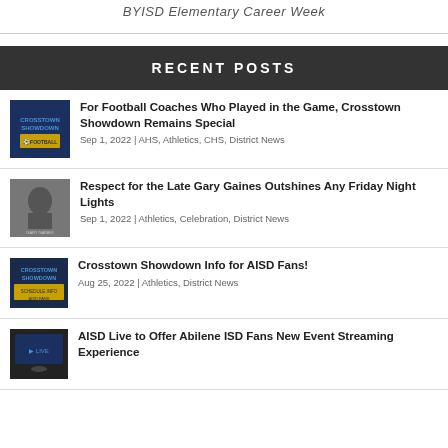BYISD Elementary Career Week
RECENT POSTS
For Football Coaches Who Played in the Game, Crosstown Showdown Remains Special
Sep 1, 2022 | AHS, Athletics, CHS, District News
Respect for the Late Gary Gaines Outshines Any Friday Night Lights
Sep 1, 2022 | Athletics, Celebration, District News
Crosstown Showdown Info for AISD Fans!
Aug 25, 2022 | Athletics, District News
AISD Live to Offer Abilene ISD Fans New Event Streaming Experience